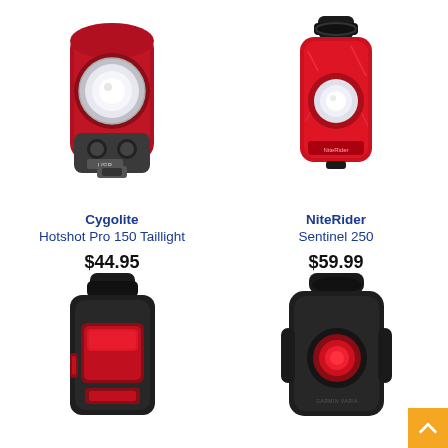[Figure (photo): Red Cygolite Hotshot Pro 150 Taillight bicycle light, front view showing large circular LED and two black buttons labeled USB]
Cygolite
Hotshot Pro 150 Taillight
$44.95
[Figure (photo): Red NiteRider Sentinel 250 bicycle taillight with black mounting bracket, side/front view]
NiteRider
Sentinel 250
$59.99
[Figure (photo): Black bicycle taillight with red LED panel, bottom half of product visible]
[Figure (photo): Black bicycle taillight with red LED, bottom half visible, with orange scroll-to-top button overlaid in corner]